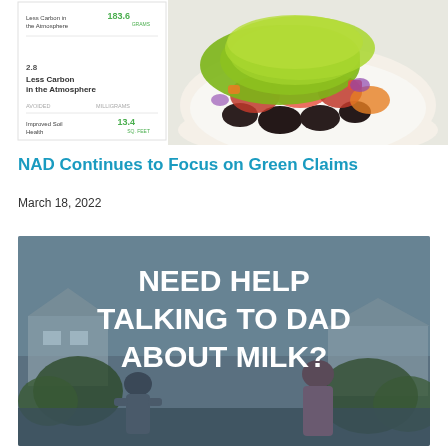[Figure (photo): Top composite image: left side shows a mobile app screenshot with environmental impact metrics (Less Carbon in the Atmosphere: 183.6 GRAMS, 2.8, Less Carbon in the Atmosphere, Improved Soil Health: 13.4 SQ. FEET); right side shows a Chipotle-style rice bowl with black beans, vegetables, and guacamole on white background.]
NAD Continues to Focus on Green Claims
March 18, 2022
[Figure (photo): Dark outdoor scene with two people near a house in winter/snowy conditions, with bold white text overlay reading: NEED HELP TALKING TO DAD ABOUT MILK?]